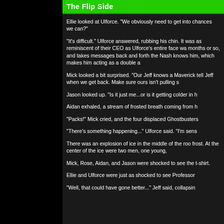The Flip Side
Ellie looked at Ulforce. "We obviously need to get into chances we can?"
"It's difficult." Ulforce answered, rubbing his chin. It was as reminiscent of their CEO as Ulforce's entire face wa months or so, and takes messages back and forth the Nash knows him, which makes him acting as a double a
Mick looked a bit surprised. "Our Jeff knows a Maverick tell Jeff when we get back. Make sure ours isn't pulling s
Jason looked up. "Is it just me...or is it getting colder in h
Aidan exhaled, a stream of frosted breath coming from h
"Packs!" Mick cried, and the four displaced Ghostbusters
"There's something happening..." Ulforce said. "I'm sens
There was an explosion of ice in the middle of the roo frost. At the center of the ice were two men, one young,
Mick, Rose, Aidan, and Jason were shocked to see the t-shirt.
Ellie and Ulforce were just as shocked to see Professor
"Well, that could have gone better..." Jeff said, collapsin